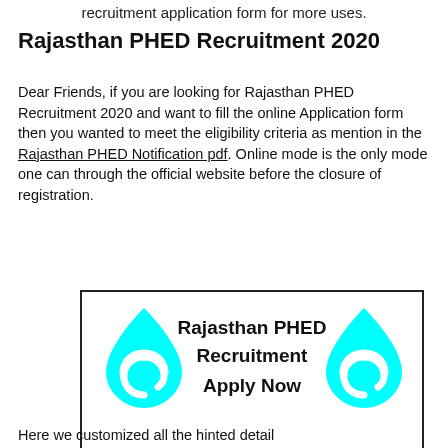recruitment application form for more uses.
Rajasthan PHED Recruitment 2020
Dear Friends, if you are looking for Rajasthan PHED Recruitment 2020 and want to fill the online Application form then you wanted to meet the eligibility criteria as mention in the Rajasthan PHED Notification pdf. Online mode is the only mode one can through the official website before the closure of registration.
[Figure (infographic): Rajasthan PHED Recruitment Apply Now banner with cyan water drop logos and TotalJobsHub.in watermarks]
Here we customized all the hinted detail